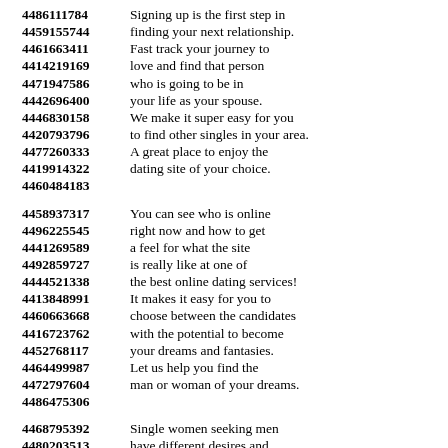4486111784  Signing up is the first step in
4459155744  finding your next relationship.
4461663411  Fast track your journey to
4414219169  love and find that person
4471947586  who is going to be in
4442696400  your life as your spouse.
4446830158  We make it super easy for you
4420793796  to find other singles in your area.
4477260333  A great place to enjoy the
4419914322  dating site of your choice.
4460484183
4458937317  You can see who is online
4496225545  right now and how to get
4441269589  a feel for what the site
4492859727  is really like at one of
4444521338  the best online dating services!
4413848991  It makes it easy for you to
4460663668  choose between the candidates
4416723762  with the potential to become
4452768117  your dreams and fantasies.
4464499987  Let us help you find the
4472797604  man or woman of your dreams.
4486475306
4468795392  Single women seeking men
4480203513  have different desires and